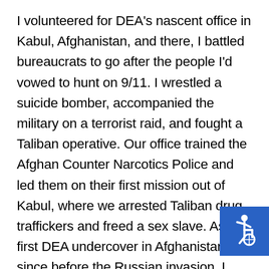I volunteered for DEA's nascent office in Kabul, Afghanistan, and there, I battled bureaucrats to go after the people I'd vowed to hunt on 9/11. I wrestled a suicide bomber, accompanied the military on a terrorist raid, and fought a Taliban operative. Our office trained the Afghan Counter Narcotics Police and led them on their first mission out of Kabul, where we arrested Taliban drug traffickers and freed a sex slave. As the first DEA undercover in Afghanistan since before the Russian invasion, I negotiated with a Pakistan drug trafficker for the delivery of 500 kilograms of he to NYC. I clashed with the military, intelligence community, and diplomats who refused to
[Figure (illustration): Blue square accessibility icon showing a person in a wheelchair]